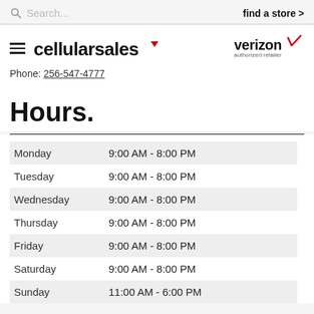Search...   find a store >
[Figure (logo): Cellular Sales logo with hamburger menu icon and red triangle arrow, Verizon authorized retailer logo on right]
Phone: 256-547-4777
Hours.
| Day | Hours |
| --- | --- |
| Monday | 9:00 AM - 8:00 PM |
| Tuesday | 9:00 AM - 8:00 PM |
| Wednesday | 9:00 AM - 8:00 PM |
| Thursday | 9:00 AM - 8:00 PM |
| Friday | 9:00 AM - 8:00 PM |
| Saturday | 9:00 AM - 8:00 PM |
| Sunday | 11:00 AM - 6:00 PM |